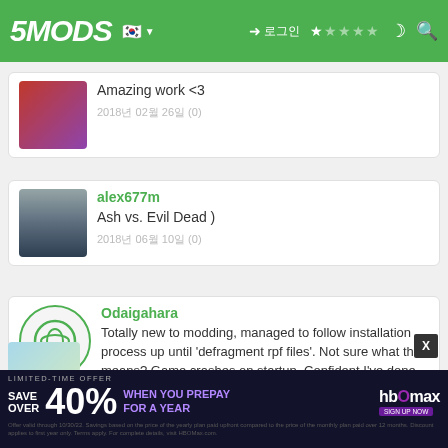5MODS — site header with language flag, login, moon icon, search icon
Amazing work <3
2018년 02월 26일 (0)
alex677m
Ash vs. Evil Dead )
2018년 06월 10일 (0)
Odaigahara
Totally new to modding, managed to follow installation process up until 'defragment rpf files'. Not sure what this means? Game crashes on startup. Confident I've done everything else right apart from this last step. I replaced the emperor with the rusty replacement, is this a problem? Sorry for so many questions, still learning
2018년 06월 25일 (0)
[Figure (advertisement): HBO Max limited-time offer ad: SAVE OVER 40% WHEN YOU PREPAY FOR A YEAR]